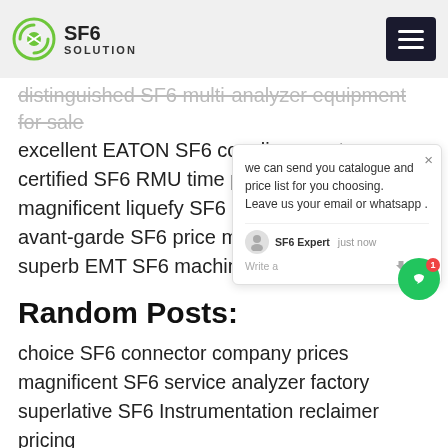SF6 SOLUTION
distinguished SF6 multi-analyzer equipment for sale
excellent EATON SF6 couplings cost
certified SF6 RMU time price
magnificent liquefy SF6 bid pricing
avant-garde SF6 price monitoring system
superb EMT SF6 machine manual price
Random Posts:
choice SF6 connector company prices
magnificent SF6 service analyzer factory
superlative SF6 Instrumentation reclaimer pricing
distinguished Equipo SF6 tools manual
breakthrough SF6 purity analyzer filling prices
forward SF6 purity testing fittings prices
b143r11 SF6 moisture meter course price
magnificent Hi-pot SF6 monitoring system